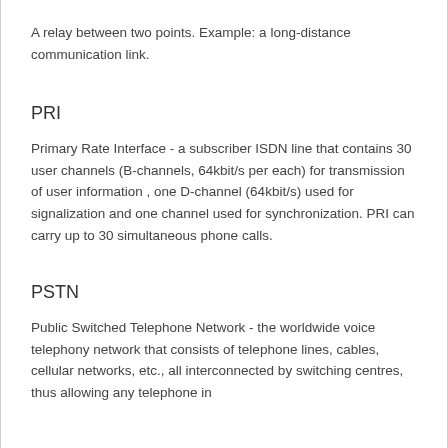A relay between two points. Example: a long-distance communication link.
PRI
Primary Rate Interface - a subscriber ISDN line that contains 30 user channels (B-channels, 64kbit/s per each) for transmission of user information , one D-channel (64kbit/s) used for signalization and one channel used for synchronization. PRI can carry up to 30 simultaneous phone calls.
PSTN
Public Switched Telephone Network - the worldwide voice telephony network that consists of telephone lines, cables, cellular networks, etc., all interconnected by switching centres, thus allowing any telephone in…